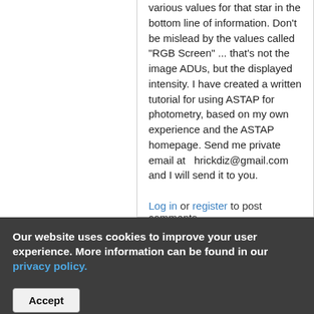various values for that star in the bottom line of information.  Don't be mislead by the values called "RGB Screen" ... that's not the image ADUs, but the displayed intensity.  I have created a written tutorial for using ASTAP for photometry, based on my own experience and the ASTAP homepage.  Send me private email at   hrickdiz@gmail.com and I will send it to you.
Log in or register to post comments
Our website uses cookies to improve your user experience. More information can be found in our privacy policy.
Accept